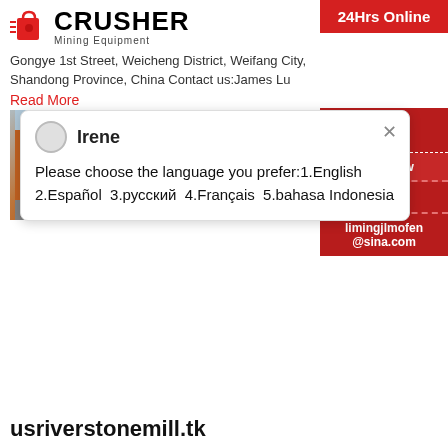[Figure (logo): Crusher Mining Equipment logo with red shopping bag icon and bold CRUSHER text]
Gongye 1st Street, Weicheng District, Weifang City, Shandong Province, China Contact us:James Lu
Read More
[Figure (photo): Orange industrial mining/crushing machinery equipment]
24Hrs Online
Irene
Please choose the language you prefer:1.English 2.Español 3.русский 4.Français 5.bahasa Indonesia
usriverstonemill.tk
SKY Mining and Construction Machinery Co., Lt... leading global manufacturer of crushing, grinding equipments, we offer advanced, reasonable solu... size-reduction requirements including quarry, ag... different kinds of minerals.
Read More
Need & sug...
Chat Now
Enquiry
limingjlmofen@sina.com